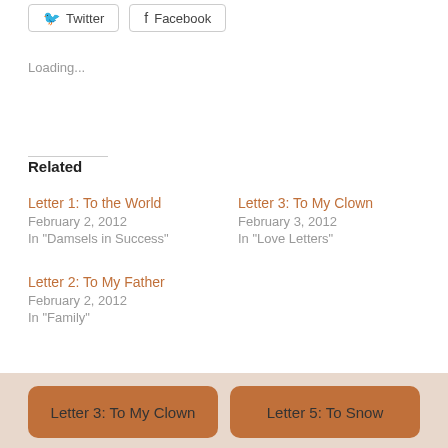[Figure (other): Twitter and Facebook social share buttons]
Loading...
Related
Letter 1: To the World
February 2, 2012
In "Damsels in Success"
Letter 3: To My Clown
February 3, 2012
In "Love Letters"
Letter 2: To My Father
February 2, 2012
In "Family"
Letter 3: To My Clown
Letter 5: To Snow